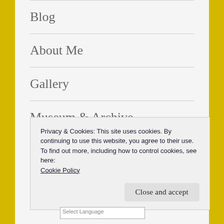Blog
About Me
Gallery
Museum & Archive
Support
Contact
Privacy & Cookies: This site uses cookies. By continuing to use this website, you agree to their use.
To find out more, including how to control cookies, see here:
Cookie Policy
Close and accept
Select Language